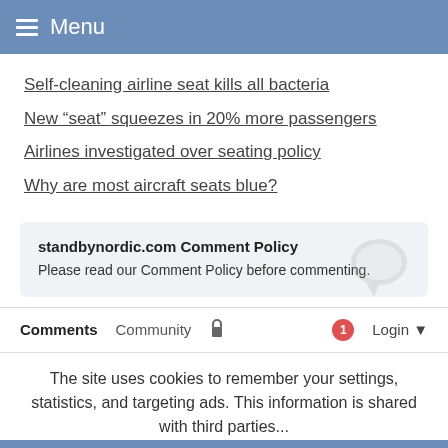Menu
Self-cleaning airline seat kills all bacteria
New “seat” squeezes in 20% more passengers
Airlines investigated over seating policy
Why are most aircraft seats blue?
standbynordic.com Comment Policy
Please read our Comment Policy before commenting.
Comments  Community  Login
The site uses cookies to remember your settings, statistics, and targeting ads. This information is shared with third parties... Ok  Read more